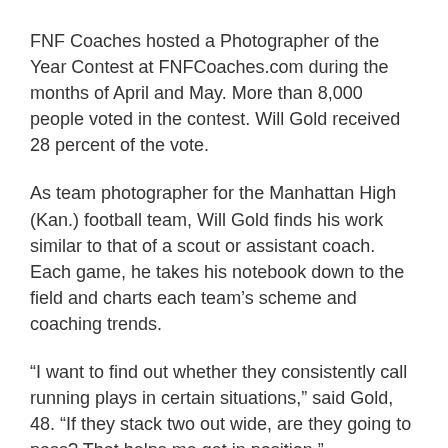FNF Coaches hosted a Photographer of the Year Contest at FNFCoaches.com during the months of April and May. More than 8,000 people voted in the contest. Will Gold received 28 percent of the vote.
As team photographer for the Manhattan High (Kan.) football team, Will Gold finds his work similar to that of a scout or assistant coach. Each game, he takes his notebook down to the field and charts each team’s scheme and coaching trends.
“I want to find out whether they consistently call running plays in certain situations,” said Gold, 48. “If they stack two out wide, are they going to pass? That helps me get in position.”
Gold found the perfect position in capturing the 2019 FNF Coaches Photo of the Year. His action photo of Manhattan tailback Kevontae McDonald breaking through the line of scrimmage between a crowd of defenders was selected among